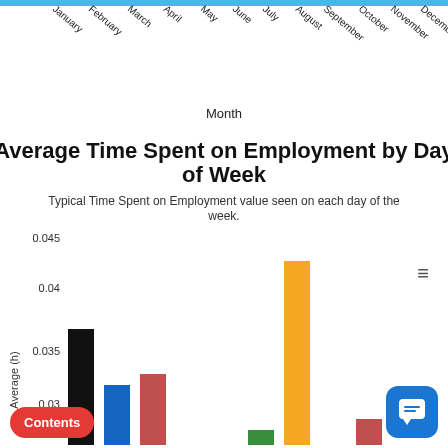[Figure (bar-chart): Average Time Spent on Employment by Day of Week]
Contents
Chat button